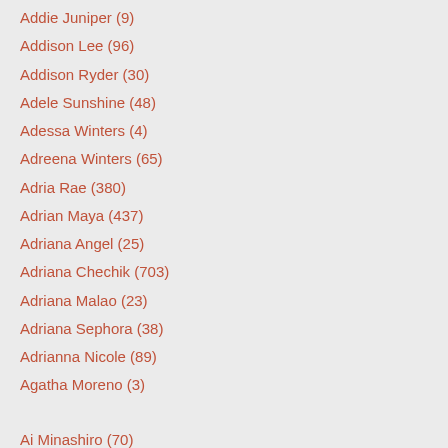Addie Juniper (9)
Addison Lee (96)
Addison Ryder (30)
Adele Sunshine (48)
Adessa Winters (4)
Adreena Winters (65)
Adria Rae (380)
Adrian Maya (437)
Adriana Angel (25)
Adriana Chechik (703)
Adriana Malao (23)
Adriana Sephora (38)
Adrianna Nicole (89)
Agatha Moreno (3)
Ai Minashiro (70)